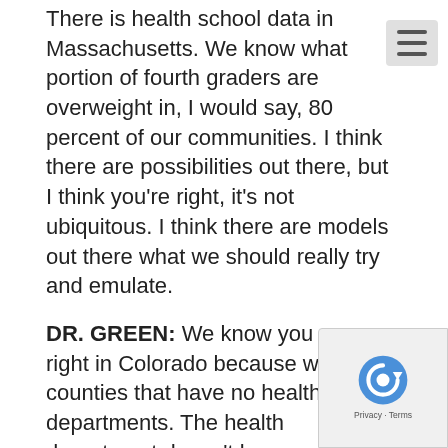There is health school data in Massachusetts. We know what portion of fourth graders are overweight in, I would say, 80 percent of our communities. I think there are possibilities out there, but I think you're right, it's not ubiquitous. I think there are models out there what we should really try and emulate.
DR. GREEN: We know you are right in Colorado because we have counties that have no health departments. The health department doesn't know anything.
DR. COHEN: We have no counties, so that– good news, bad news. It falls on the state to figure out how to do this.